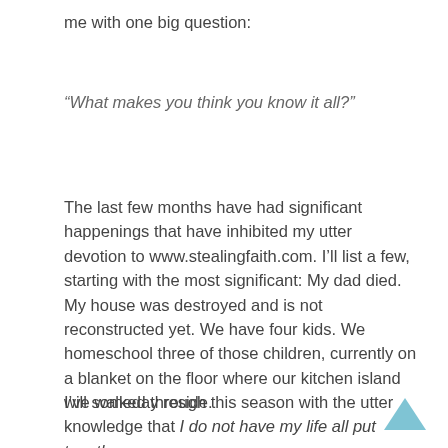me with one big question:
“What makes you think you know it all?”
The last few months have had significant happenings that have inhibited my utter devotion to www.stealingfaith.com. I’ll list a few, starting with the most significant: My dad died. My house was destroyed and is not reconstructed yet. We have four kids. We homeschool three of those children, currently on a blanket on the floor where our kitchen island will someday reside.
I’ve walked through this season with the utter knowledge that I do not have my life all put together